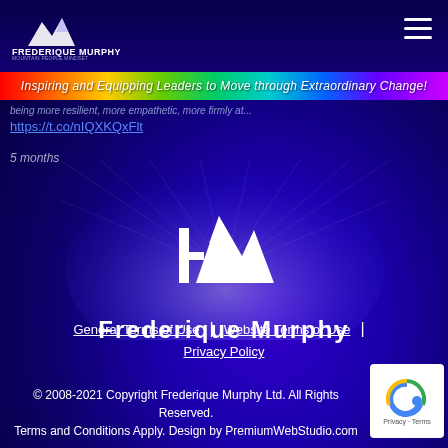Frederique Murphy - Mountain People Mindset
[Figure (illustration): Rainbow banner with italic script text: Inspiring and Equipping Leaders to Move through Extraordinary Change!]
https://t.co/nIQXKQxFlt
5 months
[Figure (logo): Frederique Murphy mountain logo with FM stylized icon above text FREDERIQUE MURPHY in white, centered on blue radial background with light rays]
General Terms of Use | Website Terms of Use | Privacy Policy
© 2008-2021 Copyright Frederique Murphy Ltd. All Rights Reserved. Terms and Conditions Apply. Design by PremiumWebStudio.com